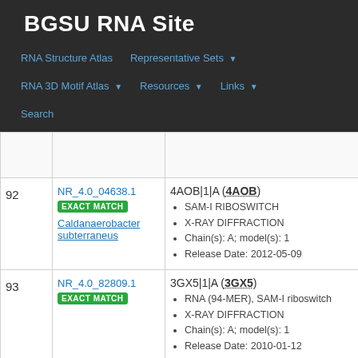BGSU RNA Site
RNA Structure Atlas | Representative Sets | RNA 3D Motif Atlas | Resources | Links | Search
| # | ID / Match | Details |
| --- | --- | --- |
| 92 | NR_4.0_04638.1
EXACT MATCH
Caldanaerobacter subterraneus | 4AOB|1|A (4AOB)
• SAM-I RIBOSWITCH
• X-RAY DIFFRACTION
• Chain(s): A; model(s): 1
• Release Date: 2012-05-09 |
| 93 | NR_4.0_82809.1
EXACT MATCH | 3GX5|1|A (3GX5)
• RNA (94-MER), SAM-I riboswitch
• X-RAY DIFFRACTION
• Chain(s): A; model(s): 1
• Release Date: 2010-01-12 |
| 94 | NR_4.0_94930.1 | 4B5R|1|A (4B5R) |